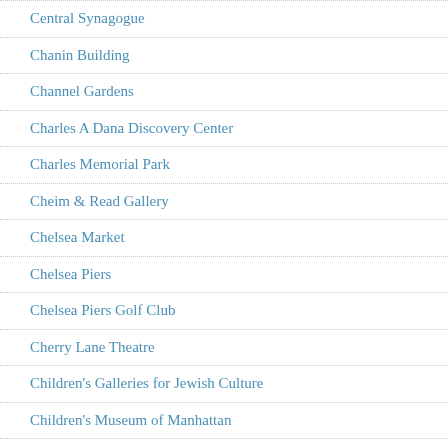Central Synagogue
Chanin Building
Channel Gardens
Charles A Dana Discovery Center
Charles Memorial Park
Cheim & Read Gallery
Chelsea Market
Chelsea Piers
Chelsea Piers Golf Club
Cherry Lane Theatre
Children's Galleries for Jewish Culture
Children's Museum of Manhattan